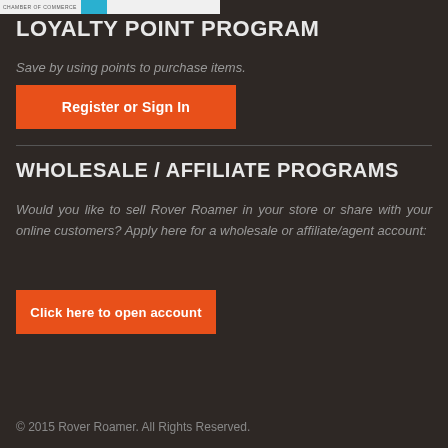CHAMBER OF COMMERCE [logo bar]
LOYALTY POINT PROGRAM
Save by using points to purchase items.
Register or Sign In
WHOLESALE / AFFILIATE PROGRAMS
Would you like to sell Rover Roamer in your store or share with your online customers? Apply here for a wholesale or affiliate/agent account:
Click here to open account
© 2015 Rover Roamer. All Rights Reserved.